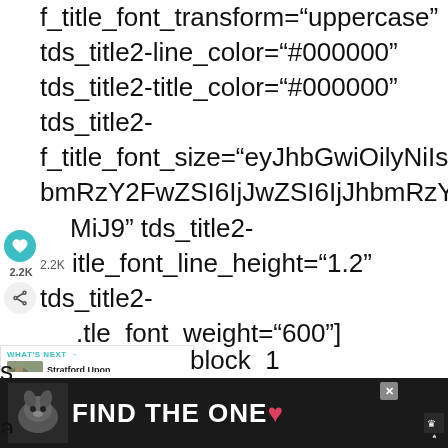f_title_font_transform="uppercase" tds_title2-line_color="#000000" tds_title2-title_color="#000000" tds_title2-f_title_font_size="eyJhbGwiOilyNiIsImxhbmRzY2FwZSI6IjJhbmRzY2FwZSI6IjJhbmRzY2FwZSI6IjJhbmRzY2FwZSI6IjJhbmRzY2FwZSI6IjJhbmRzY2FwZSI6IjJhbmRzY2FwZSI6IjJhbmRzY2FwZSI6IjJhbmRzY2FwZSI6IjJhbmRzY2FwZSI6IjJhbmRzY2FwZSI6IjJhbmRzY2FwZSI6IjJhbmRzY2FwZSI6IjJhbmRzY2FwZSI6IjJhbmRzY2FwZSI6IjJhbmRzY2FwZSI6IjJhbmRzY2FwZSI6IjJhbmRzY2FwZSI6IjJhbmRzY2FwZSI6IjJhbmRzY2FwZSI6IjJhbmRzY2FwZSI6IjJhbmRzY2FwZSI6IjJhbmRzY2FwZSI6IjJhbmRzY2FwZSI6IjMiMiJ9 tds_title2-f_title_font_line_height="1.2" tds_title2-f_title_font_weight="600"]
block_1 modules_on_row="" modules_category="above"
[Figure (screenshot): Bottom advertisement banner with dark background, dog image, text FIND THE ONE with heart symbol]
[Figure (screenshot): What's Next link box - Stratford Upon Avon - Hom...]